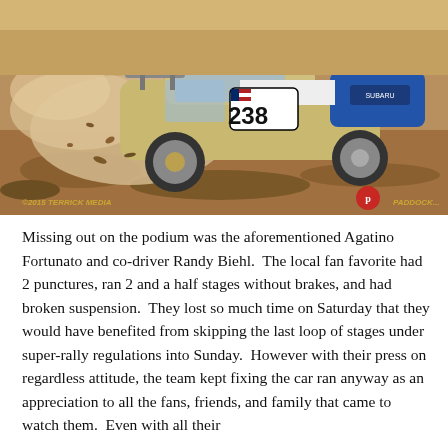[Figure (photo): Rally car number 238, a Subaru Impreza WRX with blue/white/gold livery, sliding sideways on a dirt stage kicking up dust and debris. Photo credit watermark reads '©2015 TERRICK MEDIA' and has a logo for a photography/media outlet.]
Missing out on the podium was the aforementioned Agatino Fortunato and co-driver Randy Biehl.  The local fan favorite had 2 punctures, ran 2 and a half stages without brakes, and had broken suspension.  They lost so much time on Saturday that they would have benefited from skipping the last loop of stages under super-rally regulations into Sunday.  However with their press on regardless attitude, the team kept fixing the car ran anyway as an appreciation to all the fans, friends, and family that came to watch them.  Even with all their